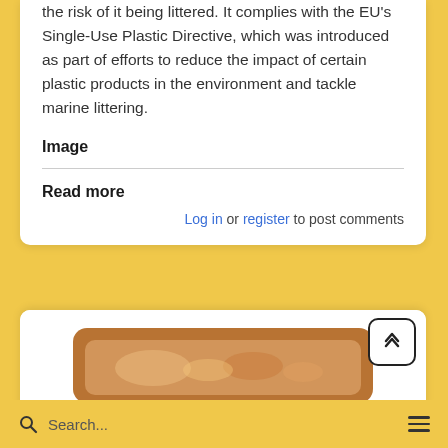the risk of it being littered. It complies with the EU's Single-Use Plastic Directive, which was introduced as part of efforts to reduce the impact of certain plastic products in the environment and tackle marine littering.
Image
Read more
Log in or register to post comments
[Figure (photo): Partial view of a brown food tray/packaging at the bottom of the page]
Search...